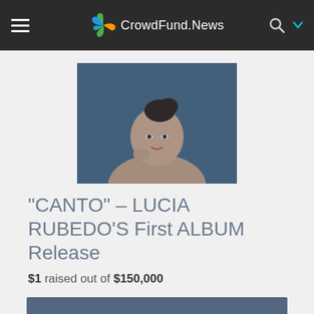CrowdFund.News
[Figure (photo): Portrait photo of Lucia Rubedo, a young woman with dark hair up, looking over her shoulder against a dark blue background]
“CANTO” – LUCIA RUBEDO’S First ALBUM Release
$1 raised out of $150,000
Visit site
Overview